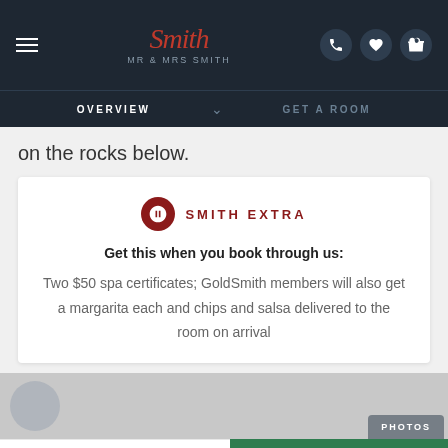Mr & Mrs Smith — OVERVIEW | GET A ROOM
on the rocks below.
SMITH EXTRA
Get this when you book through us:
Two $50 spa certificates; GoldSmith members will also get a margarita each and chips and salsa delivered to the room on arrival
[Figure (photo): Photo strip with camera icon placeholder and PHOTOS badge]
Price per night from
$834.38